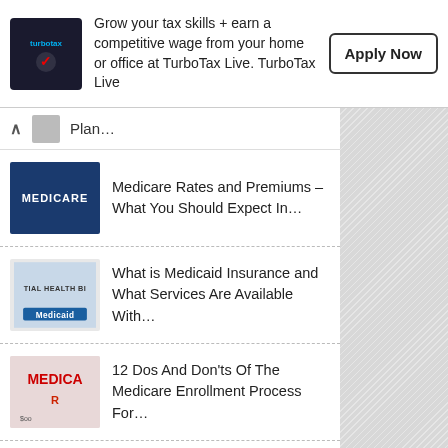[Figure (infographic): TurboTax advertisement banner with logo, text 'Grow your tax skills + earn a competitive wage from your home or office at TurboTax Live. TurboTax Live' and an Apply Now button]
Plan...
Medicare Rates and Premiums – What You Should Expect In...
What is Medicaid Insurance and What Services Are Available With...
12 Dos And Don'ts Of The Medicare Enrollment Process For...
Learn How to Easily Apply For Social Security Benefits and...
How to Easily Use A Social Security Calculator So You...